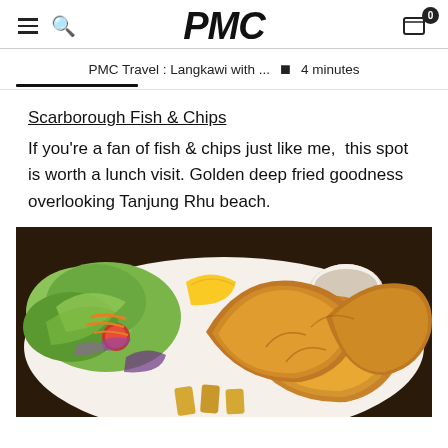PMC
PMC Travel : Langkawi with ...  ▪  4 minutes
Scarborough Fish & Chips
If you're a fan of fish & chips just like me,  this spot is worth a lunch visit. Golden deep fried goodness overlooking Tanjung Rhu beach.
[Figure (photo): A plate of golden deep-fried fish and chips with a side salad of lettuce, tomatoes, red onion, carrots, and a wedge of lemon, with a dipping sauce on a white plate]